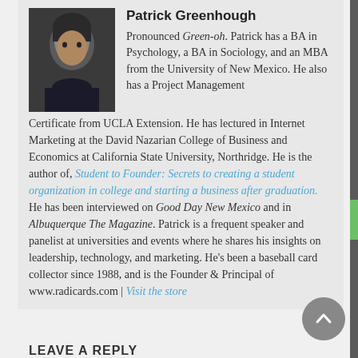Patrick Greenhough
[Figure (photo): Headshot photo of Patrick Greenhough, a young man with dark hair wearing a dark jacket]
Pronounced Green-oh. Patrick has a BA in Psychology, a BA in Sociology, and an MBA from the University of New Mexico. He also has a Project Management Certificate from UCLA Extension. He has lectured in Internet Marketing at the David Nazarian College of Business and Economics at California State University, Northridge. He is the author of, Student to Founder: Secrets to creating a student organization in college and starting a business after graduation. He has been interviewed on Good Day New Mexico and in Albuquerque The Magazine. Patrick is a frequent speaker and panelist at universities and events where he shares his insights on leadership, technology, and marketing. He's been a baseball card collector since 1988, and is the Founder & Principal of www.radicards.com | Visit the store
LEAVE A REPLY